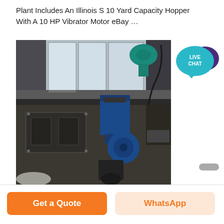Plant Includes An Illinois S 10 Yard Capacity Hopper With A 10 HP Vibrator Motor eBay …
[Figure (photo): Industrial machinery photo showing a large conveyor or feeder machine with blue electric motors and gearboxes in a factory/warehouse setting. The machine has a dark metal frame with visible motor units and wiring.]
[Figure (illustration): Live Chat badge icon — teal speech bubble with 'LIVE CHAT' text and a dark purple chat bubble icon]
Get a Quote
WhatsApp